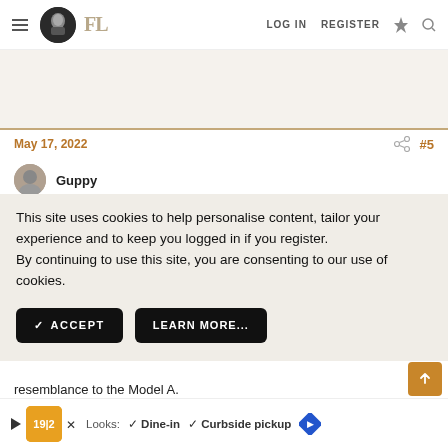FL | LOG IN  REGISTER
[Figure (other): Advertisement banner area, light beige background]
May 17, 2022  #5
Guppy
This site uses cookies to help personalise content, tailor your experience and to keep you logged in if you register. By continuing to use this site, you are consenting to our use of cookies.
✓ ACCEPT   LEARN MORE...
resemblance to the Model A.
Looks:
[Figure (other): Advertisement banner at bottom with restaurant logo, dine-in and curbside pickup options]